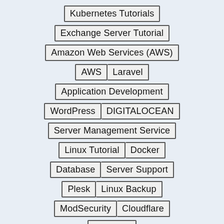Kubernetes Tutorials
Exchange Server Tutorial
Amazon Web Services (AWS)
AWS | Laravel
Application Development
WordPress | DIGITALOCEAN
Server Management Service
Linux Tutorial | Docker
Database | Server Support
Plesk | Linux Backup
ModSecurity | Cloudflare
Windows